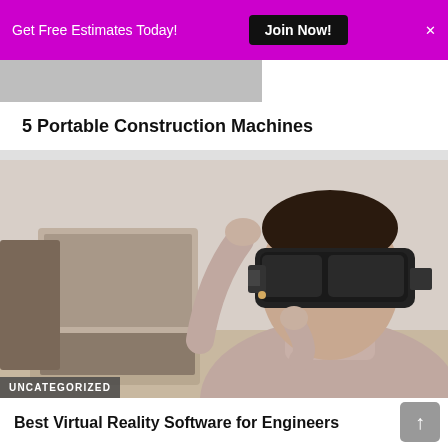Get Free Estimates Today! | Join Now!
5 Portable Construction Machines
[Figure (photo): Woman wearing a VR headset, hands raised, with a laptop on a desk in the background]
UNCATEGORIZED
Best Virtual Reality Software for Engineers